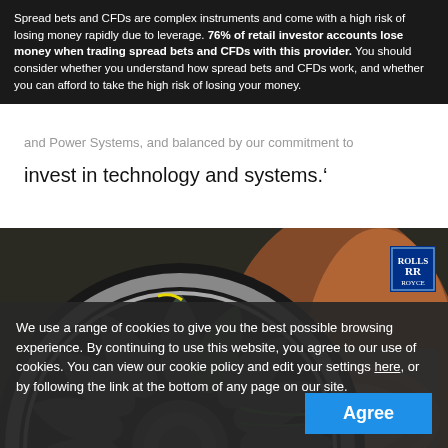Spread bets and CFDs are complex instruments and come with a high risk of losing money rapidly due to leverage. 76% of retail investor accounts lose money when trading spread bets and CFDs with this provider. You should consider whether you understand how spread bets and CFDs work, and whether you can afford to take the high risk of losing your money.
and Power Systems, and balanced by our commitment to invest in technology and systems.'
[Figure (photo): Close-up photograph of a Rolls-Royce jet engine turbine fan displayed at what appears to be an air show or exhibition, with a large orange/red display screen visible in the background and a person visible at the bottom right. A Rolls-Royce logo badge is visible in the top right corner of the image.]
We use a range of cookies to give you the best possible browsing experience. By continuing to use this website, you agree to our use of cookies. You can view our cookie policy and edit your settings here, or by following the link at the bottom of any page on our site.